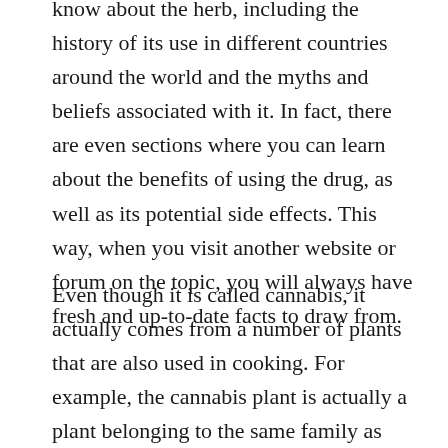know about the herb, including the history of its use in different countries around the world and the myths and beliefs associated with it. In fact, there are even sections where you can learn about the benefits of using the drug, as well as its potential side effects. This way, when you visit another website or forum on the topic, you will always have fresh and up-to-date facts to draw from.
Even though it is called cannabis, it actually comes from a number of plants that are also used in cooking. For example, the cannabis plant is actually a plant belonging to the same family as tobacco. The leaves are used for making cannabis cookies and brownies, while the stems and flowers are also used for this purpose. Some other cannabis facts include the fact that it is most effective when kept in the dark and away from heat and light. When stored properly, it can be kept at another...